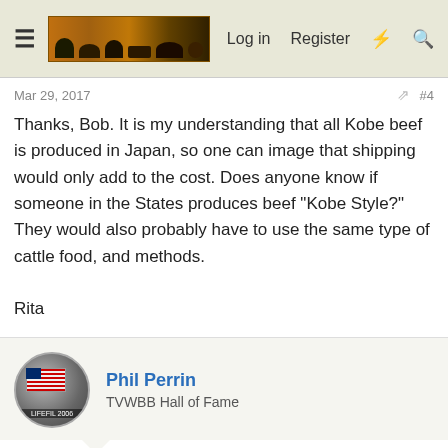Log in  Register
Mar 29, 2017  #4
Thanks, Bob. It is my understanding that all Kobe beef is produced in Japan, so one can image that shipping would only add to the cost. Does anyone know if someone in the States produces beef "Kobe Style?" They would also probably have to use the same type of cattle food, and methods.

Rita
Phil Perrin
TVWBB Hall of Fame
Mar 29, 2017  #5
Rita, the American style Kobe is called Wagyu and it is usually bred with Black Angus, to be called "American Style Kobe Beef". At least, that's what I got from Wikipedia! 😀